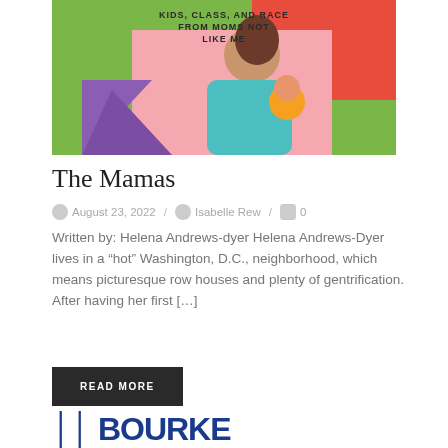[Figure (illustration): Book cover illustration showing stylized women figures with text 'KIDS, CLASS, AND RACE FROM MOMS NOT LIKE ME' on a colorful background with green, pink, orange and teal colors]
The Mamas
August 23, 2022 / Isabelle Rew / 0
Written by: Helena Andrews-dyer Helena Andrews-Dyer lives in a “hot” Washington, D.C., neighborhood, which means picturesque row houses and plenty of gentrification. After having her first […]
READ MORE
[Figure (logo): Partial text/logo in large dark blue bold letters, partially cut off at bottom of page]